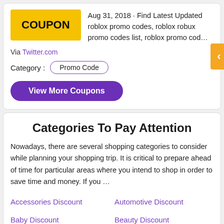[Figure (other): Coupon card with yellow COUPON badge and description text: Aug 31, 2018 · Find Latest Updated roblox promo codes, roblox robux promo codes list, roblox promo cod…]
Via Twitter.com
Category : Promo Code
View More Coupons
Categories To Pay Attention
Nowadays, there are several shopping categories to consider while planning your shopping trip. It is critical to prepare ahead of time for particular areas where you intend to shop in order to save time and money. If you …
Accessories Discount
Automotive Discount
Baby Discount
Beauty Discount
Beverage Discount
Books Discount